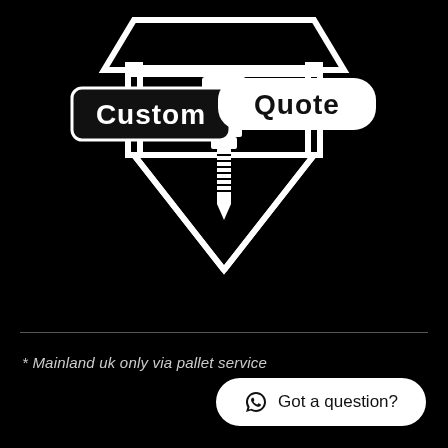[Figure (logo): CNC router machine silhouette icon in white on black background with 'Custom Quote' text overlaid in two rectangular badge labels]
* Mainland uk only via pallet service
Got a question?